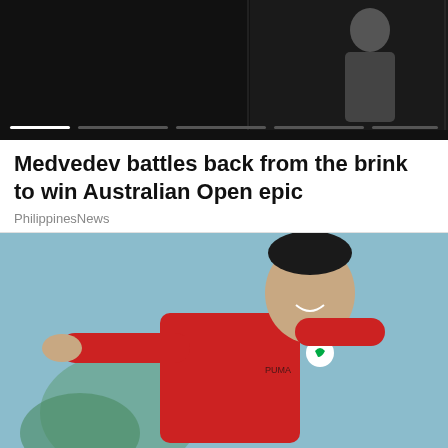[Figure (photo): Dark banner with video thumbnail showing a person on the right side, with progress bar indicators at the bottom]
Medvedev battles back from the brink to win Australian Open epic
PhilippinesNews
[Figure (photo): Achraf Hakimi in a red Morocco football jersey with arm outstretched, pointing, smiling, with light blue background]
Achraf Hakimi is best right-back in world, says